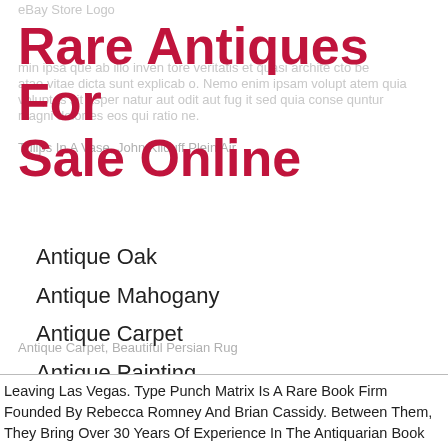Rare Antiques For Sale Online
Antique Oak
Antique Mahogany
Antique Carpet
Antique Painting
Antique Glass
Antique Plate
Leaving Las Vegas. Type Punch Matrix Is A Rare Book Firm Founded By Rebecca Romney And Brian Cassidy. Between Them, They Bring Over 30 Years Of Experience In The Antiquarian Book